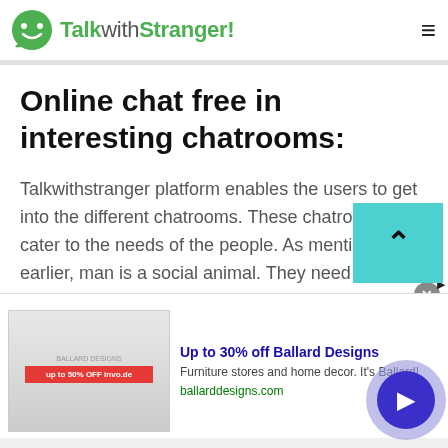TalkwithStranger!
Online chat free in interesting chatrooms:
Talkwithstranger platform enables the users to get into the different chatrooms. These chatrooms cater to the needs of the people. As mentioned earlier, man is a social animal. They need someone so that they can talk their heart out. At talkwithstranger , you can chat with people of Senegal from anywhere in the world.
[Figure (screenshot): Advertisement banner for Ballard Designs showing a coupon image on left, with headline 'Up to 30% off Ballard Designs', subtext 'Furniture stores and home decor. It's Ballard!', URL 'ballarddesigns.com', and a circular blue play/navigation button on the right.]